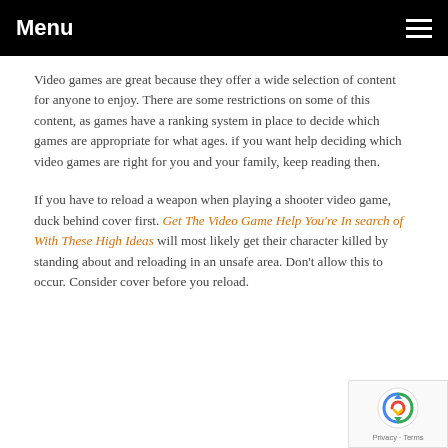Menu
Video games are great because they offer a wide selection of content for anyone to enjoy. There are some restrictions on some of this content, as games have a ranking system in place to decide which games are appropriate for what ages. if you want help deciding which video games are right for you and your family, keep reading then.
If you have to reload a weapon when playing a shooter video game, duck behind cover first. Get The Video Game Help You're In search of With These High Ideas will most likely get their character killed by standing about and reloading in an unsafe area. Don't allow this to occur. Consider cover before you reload.